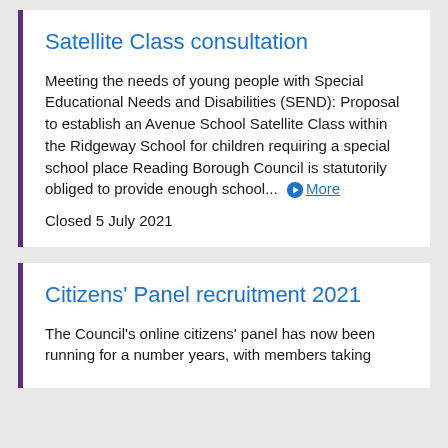Satellite Class consultation
Meeting the needs of young people with Special Educational Needs and Disabilities (SEND): Proposal to establish an Avenue School Satellite Class within the Ridgeway School for children requiring a special school place Reading Borough Council is statutorily obliged to provide enough school... More
Closed 5 July 2021
Citizens' Panel recruitment 2021
The Council's online citizens' panel has now been running for a number years, with members taking